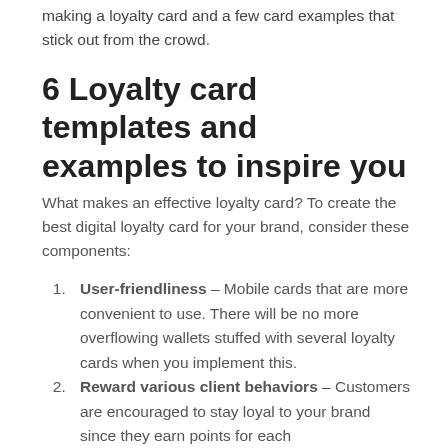making a loyalty card and a few card examples that stick out from the crowd.
6 Loyalty card templates and examples to inspire you
What makes an effective loyalty card? To create the best digital loyalty card for your brand, consider these components:
User-friendliness – Mobile cards that are more convenient to use. There will be no more overflowing wallets stuffed with several loyalty cards when you implement this.
Reward various client behaviors – Customers are encouraged to stay loyal to your brand since they earn points for each